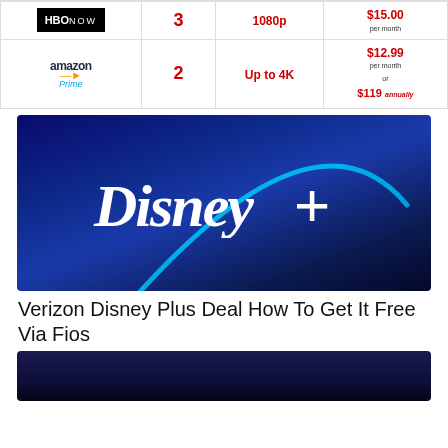| Service | Screens | Resolution | Price |
| --- | --- | --- | --- |
| HBO NOW | 3 | 1080p | $15.00 per month |
| Amazon Prime | 2 | Up to 4K | $12.99 per month or $119 annually |
[Figure (photo): Disney+ logo on a dark blue gradient background with a cyan/teal arc swoosh above the logo text]
Verizon Disney Plus Deal How To Get It Free Via Fios
[Figure (photo): Partial view of another article image with dark blue background, bottom of page]